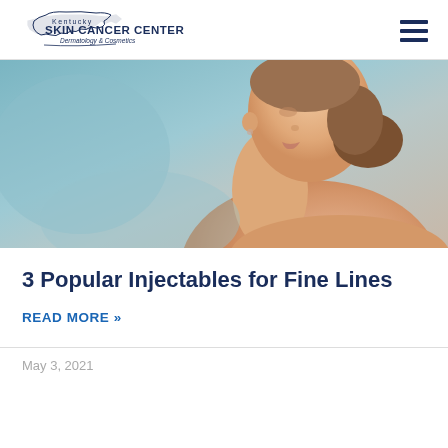[Figure (logo): Kentucky Skin Cancer Center – Dermatology & Cosmetics logo with state of Kentucky outline]
[Figure (photo): Woman with healthy skin shown from shoulders up, against a soft teal/grey background, looking over shoulder]
3 Popular Injectables for Fine Lines
READ MORE »
May 3, 2021